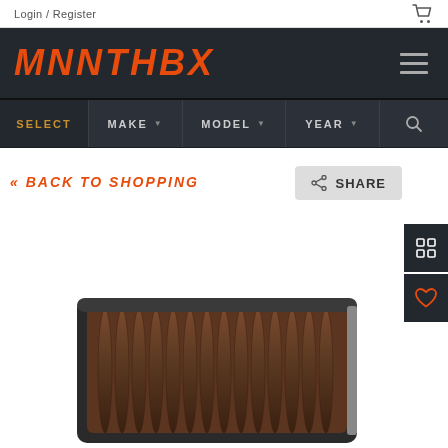Login / Register
MNNTHBX
SELECT  MAKE  MODEL  YEAR
« BACK TO SHOPPING
SHARE
[Figure (photo): Product photo of an automotive air filter (MNNTHBX brand) — rectangular filter with pleated dark brown/copper filter media and black frame, viewed from above at an angle.]